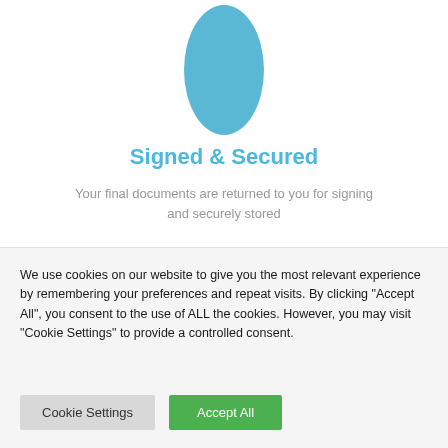[Figure (illustration): A blue oval/ellipse shape centered near the top of the white section, representing a lock or security icon]
Signed & Secured
Your final documents are returned to you for signing and securely stored
We use cookies on our website to give you the most relevant experience by remembering your preferences and repeat visits. By clicking "Accept All", you consent to the use of ALL the cookies. However, you may visit "Cookie Settings" to provide a controlled consent.
Cookie Settings | Accept All